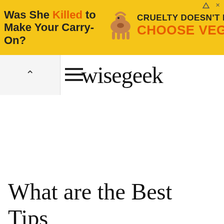[Figure (screenshot): Advertisement banner with yellow background. Text reads 'Was She Killed to Make Your Carry-On?' with PETA logo and 'CRUELTY DOESN'T FLY CHOOSE VEGAN' text. Includes cow illustration and close/X buttons.]
wisegeek
What are the Best Tips for an Internet